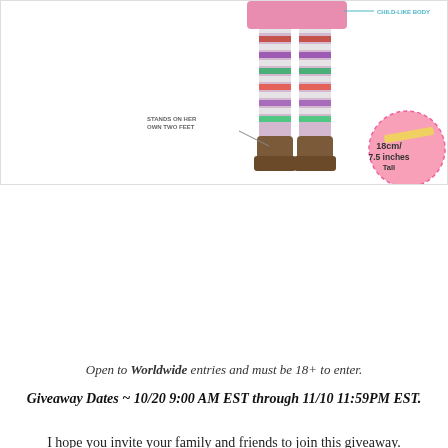[Figure (illustration): Bottom portion of a doll with striped leggings and brown boots, with labels pointing to features: 'CHILD-LIKE BODY', 'STANDS ON HER OWN TWO FEET', and a pink circle showing '18cm / 7.5 inches Tall'. Left side has text about hair-play.]
honest, who doesn't love the opportunity for a spot of hair-play?
Open to Worldwide entries and must be 18+ to enter.
Giveaway Dates ~ 10/20 9:00 AM EST through 11/10 11:59PM EST.
I hope you invite your family and friends to join this giveaway.